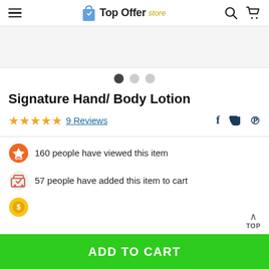Top Offer store
[Figure (screenshot): Product image area (blank/white) for Signature Hand/Body Lotion]
Signature Hand/ Body Lotion
★★★★★ 9 Reviews
160 people have viewed this item
57 people have added this item to cart
ADD TO CART